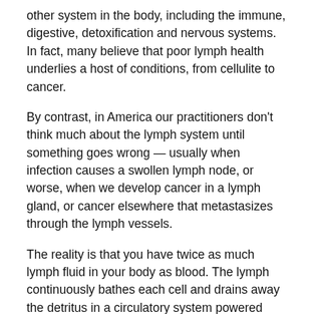other system in the body, including the immune, digestive, detoxification and nervous systems. In fact, many believe that poor lymph health underlies a host of conditions, from cellulite to cancer.
By contrast, in America our practitioners don't think much about the lymph system until something goes wrong — usually when infection causes a swollen lymph node, or worse, when we develop cancer in a lymph gland, or cancer elsewhere that metastasizes through the lymph vessels.
The reality is that you have twice as much lymph fluid in your body as blood. The lymph continuously bathes each cell and drains away the detritus in a circulatory system powered only by your breathing and movement. If the movement of the lymph stopped entirely you would die in a matter of hours.
What can you do to ensure your lymph system stays healthy? There are a number of ways to support lymphatic function